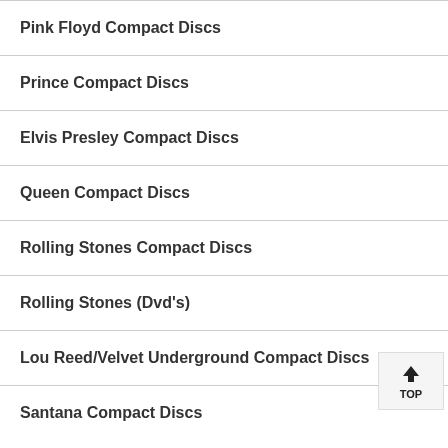Pink Floyd Compact Discs
Prince Compact Discs
Elvis Presley Compact Discs
Queen Compact Discs
Rolling Stones Compact Discs
Rolling Stones (Dvd's)
Lou Reed/Velvet Underground Compact Discs
Santana Compact Discs